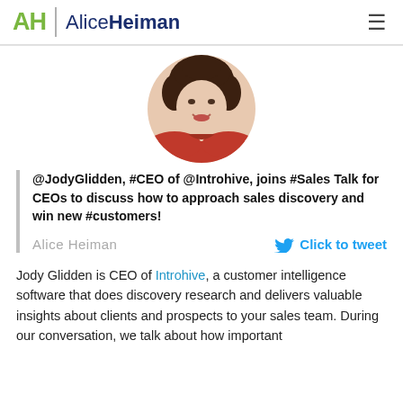AH | AliceHeiman
[Figure (photo): Circular profile photo of a woman with curly brown hair wearing a red top, smiling.]
@JodyGlidden, #CEO of @Introhive, joins #Sales Talk for CEOs to discuss how to approach sales discovery and win new #customers!
Alice Heiman    Click to tweet
Jody Glidden is CEO of Introhive, a customer intelligence software that does discovery research and delivers valuable insights about clients and prospects to your sales team. During our conversation, we talk about how important